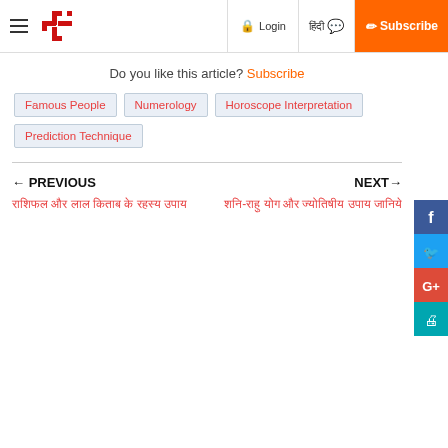Login | हिंदी | Subscribe
Do you like this article? Subscribe
Famous People
Numerology
Horoscope Interpretation
Prediction Technique
← PREVIOUS
NEXT→